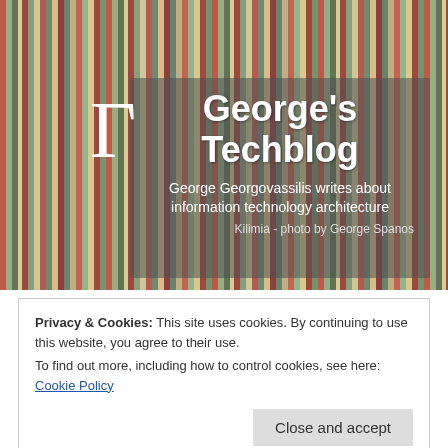[Figure (photo): Website header banner showing George's Techblog with a colorful woven textile/rug background photo, a gamma symbol on the left, and overlay text with blog title and subtitle.]
George's Techblog
George Georgovassilis writes about information technology architecture
Kilimia - photo by George Spanos
Privacy & Cookies: This site uses cookies. By continuing to use this website, you agree to their use.
To find out more, including how to control cookies, see here: Cookie Policy
Tag: databases